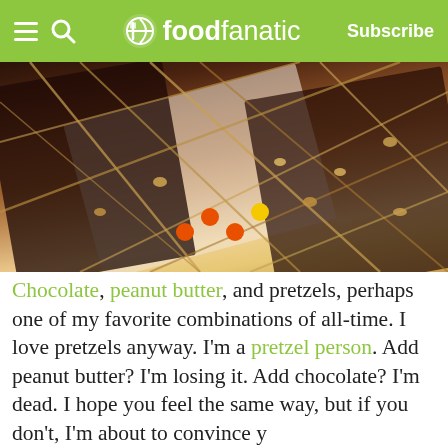foodfanatic — Subscribe
[Figure (photo): Chocolate bark with pretzels, peanut butter drizzle, and colorful candy pieces (Reese's Pieces) on a white surface, cut into pieces]
Chocolate, peanut butter, and pretzels, perhaps one of my favorite combinations of all-time. I love pretzels anyway. I'm a pretzel person. Add peanut butter? I'm losing it. Add chocolate? I'm dead. I hope you feel the same way, but if you don't, I'm about to convince you.
I'm not generally a salty snack person at all, I'm a sweet-tooth. Take potato chips, for example. I will rarely crave potato chips, and I virtually NEVER buy them. If they're in front of me, I'll eat them and I won't be able to stop, but they are just not what I go for.